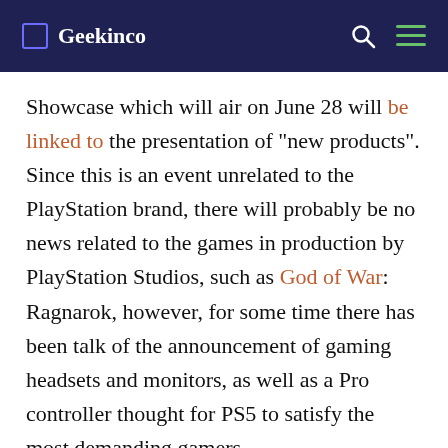🎮 Geekinco
Showcase which will air on June 28 will be linked to the presentation of "new products". Since this is an event unrelated to the PlayStation brand, there will probably be no news related to the games in production by PlayStation Studios, such as God of War: Ragnarok, however, for some time there has been talk of the announcement of gaming headsets and monitors, as well as a Pro controller thought for PS5 to satisfy the most demanding gamers.
The latter is at the center of Henderson's latest